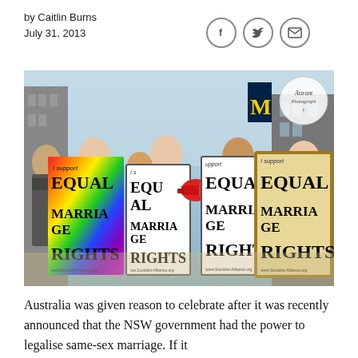by Caitlin Burns
July 31, 2013
[Figure (photo): Protesters at an equal marriage rights rally holding signs that read 'I support Equal Marriage Rights' with rainbow and white backgrounds, one person holding a red megaphone. Photo credited to Astrant Photography.]
Australia was given reason to celebrate after it was recently announced that the NSW government had the power to legalise same-sex marriage. If it was to it could bring same-sex marriage effects to...